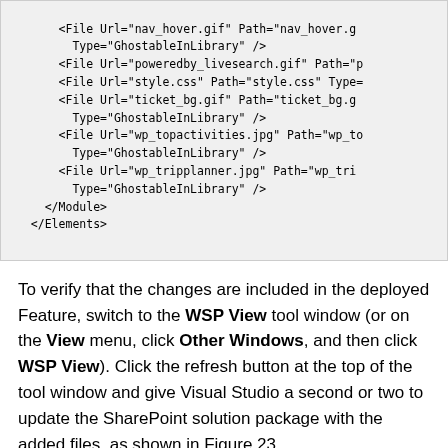<File Url="nav_hover.gif" Path="nav_hover.g... Type="GhostableInLibrary" />
<File Url="poweredby_livesearch.gif" Path="p...
<File Url="style.css" Path="style.css" Type=...
<File Url="ticket_bg.gif" Path="ticket_bg.g... Type="GhostableInLibrary" />
<File Url="wp_topactivities.jpg" Path="wp_to Type="GhostableInLibrary" />
<File Url="wp_tripplanner.jpg" Path="wp_tri... Type="GhostableInLibrary" />
</Module>
</Elements>
To verify that the changes are included in the deployed Feature, switch to the WSP View tool window (or on the View menu, click Other Windows, and then click WSP View). Click the refresh button at the top of the tool window and give Visual Studio a second or two to update the SharePoint solution package with the added files, as shown in Figure 23.